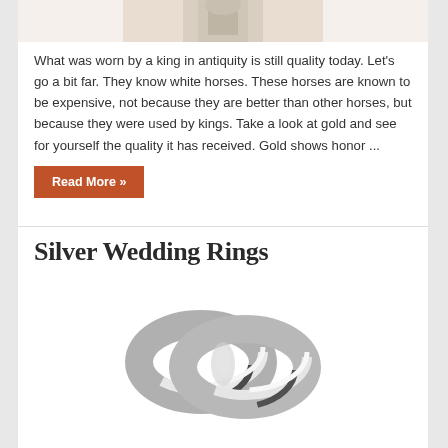[Figure (photo): Top portion of person wearing linen shirt, cropped at shoulders/torso]
What was worn by a king in antiquity is still quality today. Let's go a bit far. They know white horses. These horses are known to be expensive, not because they are better than other horses, but because they were used by kings. Take a look at gold and see for yourself the quality it has received. Gold shows honor ...
Read More »
Silver Wedding Rings
[Figure (photo): Two silver/platinum wedding rings interlinked together on a white background]